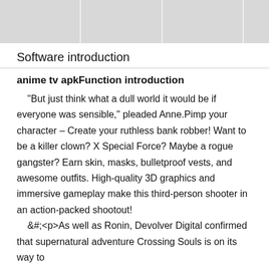[Figure (photo): A horizontal strip of placeholder/greyed-out image tiles at the top of the page]
Software introduction
anime tv apkFunction introduction
"But just think what a dull world it would be if everyone was sensible," pleaded Anne.Pimp your character – Create your ruthless bank robber! Want to be a killer clown? X Special Force? Maybe a rogue gangster? Earn skin, masks, bulletproof vests, and awesome outfits. High-quality 3D graphics and immersive gameplay make this third-person shooter in an action-packed shootout!
&#;<p>As well as Ronin, Devolver Digital confirmed that supernatural adventure Crossing Souls is on its way to